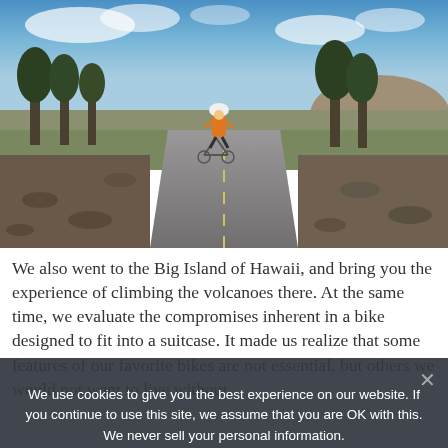[Figure (photo): A cyclist wearing an orange jersey and white helmet riding a road bike on a paved road on the Big Island of Hawaii, with volcanic landscape, trees, and blue sky with clouds in the background.]
We also went to the Big Island of Hawaii, and bring you the experience of climbing the volcanoes there. At the same time, we evaluate the compromises inherent in a bike designed to fit into a suitcase. It made us realize that some features of our favorite bikes are not essential, but others we would not want to live without.
We use cookies to give you the best experience on our website. If you continue to use this site, we assume that you are OK with this. We never sell your personal information.